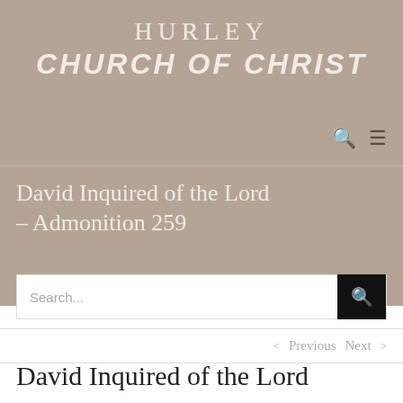HURLEY CHURCH OF CHRIST
David Inquired of the Lord – Admonition 259
Search...
< Previous   Next >
David Inquired of the Lord